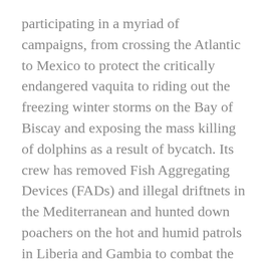participating in a myriad of campaigns, from crossing the Atlantic to Mexico to protect the critically endangered vaquita to riding out the freezing winter storms on the Bay of Biscay and exposing the mass killing of dolphins as a result of bycatch. Its crew has removed Fish Aggregating Devices (FADs) and illegal driftnets in the Mediterranean and hunted down poachers on the hot and humid patrols in Liberia and Gambia to combat the scourge of illegal fishing.
What isn’t seen is the toll that all that time at sea takes on the ship.
With most of the crew’s time spent at sea patrolling the world’s oceans to defend marine life,